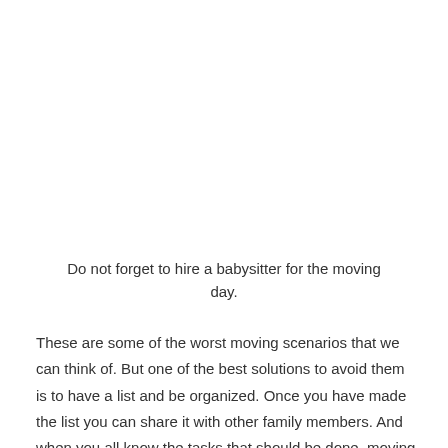Do not forget to hire a babysitter for the moving day.
These are some of the worst moving scenarios that we can think of. But one of the best solutions to avoid them is to have a list and be organized. Once you have made the list you can share it with other family members. And when you all know the tasks that should be done, moving day